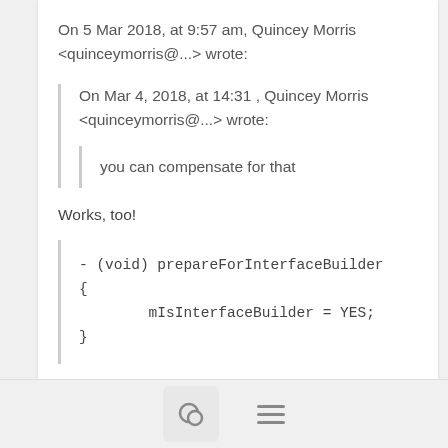On 5 Mar 2018, at 9:57 am, Quincey Morris <quinceymorris@...> wrote:
On Mar 4, 2018, at 14:31 , Quincey Morris <quinceymorris@...> wrote:
you can compensate for that
Works, too!
- (void) prepareForInterfaceBuilder
{
        mIsInterfaceBuilder = YES;
}